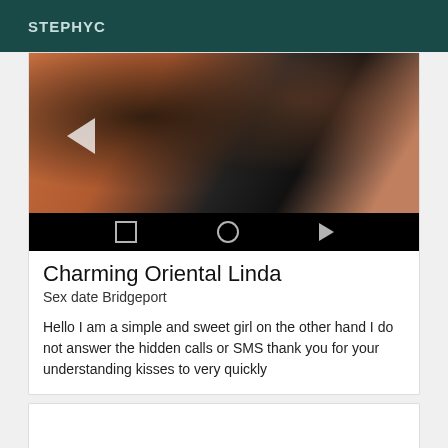STEPHYC
[Figure (screenshot): Video thumbnail showing a close-up image with a media player overlay including square, circle, and play button controls on a black control bar]
Charming Oriental Linda
Sex date Bridgeport
Hello I am a simple and sweet girl on the other hand I do not answer the hidden calls or SMS thank you for your understanding kisses to very quickly